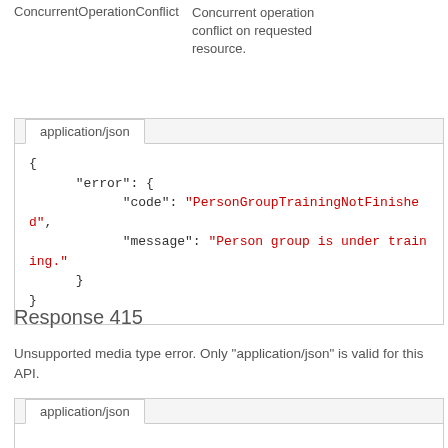ConcurrentOperationConflict
Concurrent operation conflict on requested resource.
[Figure (screenshot): Code block showing application/json tab with JSON error response: { "error": { "code": "PersonGroupTrainingNotFinished", "message": "Person group is under training." } }]
Response 415
Unsupported media type error. Only "application/json" is valid for this API.
[Figure (screenshot): Code block showing application/json tab (partial view)]